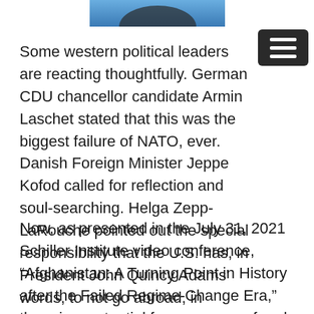[Figure (photo): Partial view of an image at the top of the page with blue tones]
Some western political leaders are reacting thoughtfully. German CDU chancellor candidate Armin Laschet stated that this was the biggest failure of NATO, ever. Danish Foreign Minister Jeppe Kofod called for reflection and soul-searching. Helga Zepp-LaRouche pointed out the special responsibility that the U.S. has, in President John Quincy Adams' words, to not go abroad, in search of monsters to destroy.
Now, as presented in the July 31, 2021 Schiller Institute video conference, “Afghanistan: A Turning Point in History after the Failed Regime-Change Era,” there is a potential for a new era of real nation-building in Afghanistan, and the rest of the world, if the Western nations cooperate with the Chinese-led Belt and Road Initiative, along with Afghanistan’s neighbors, and drop their geopolitical goals of preventing China and Russia from playing leading roles in the world. Many Afghan development